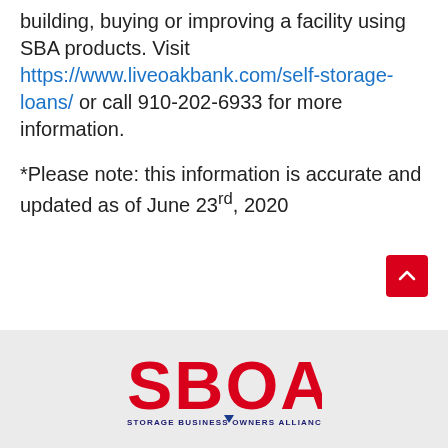building, buying or improving a facility using SBA products. Visit https://www.liveoakbank.com/self-storage-loans/ or call 910-202-6933 for more information.
*Please note: this information is accurate and updated as of June 23rd, 2020
[Figure (logo): SBOA - Storage Business Owners Alliance logo with red text and blue triangle]